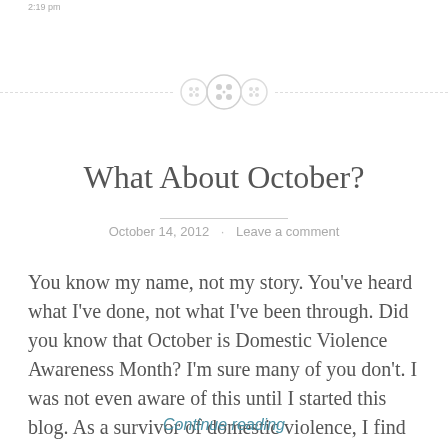2:19 pm
[Figure (illustration): Decorative divider with three button icons and dashed lines on either side]
What About October?
October 14, 2012 · Leave a comment
You know my name, not my story.  You've heard what I've done, not what I've been through. Did you know that October is Domestic Violence Awareness Month?  I'm sure many of you don't.  I was not even aware of this until I started this blog.  As a survivor of domestic violence, I find that quite...
Continue reading